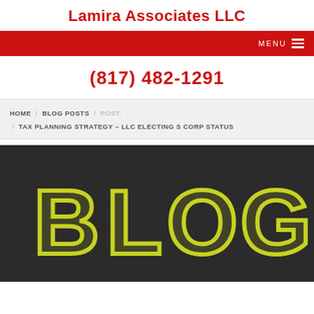Lamira Associates LLC
MENU
(817) 482-1291
HOME / BLOG POSTS / POST: / TAX PLANNING STRATEGY - LLC ELECTING S CORP STATUS
[Figure (photo): Dark chalkboard background with the word BLOG written in large yellow chalk-style letters]